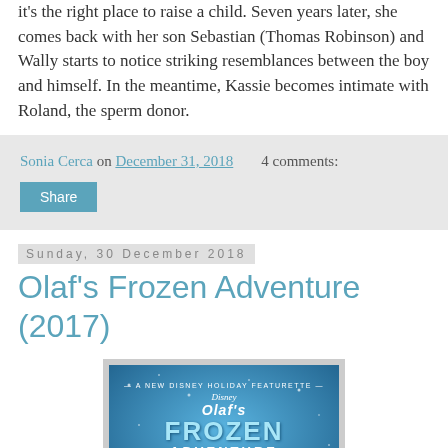it's the right place to raise a child. Seven years later, she comes back with her son Sebastian (Thomas Robinson) and Wally starts to notice striking resemblances between the boy and himself. In the meantime, Kassie becomes intimate with Roland, the sperm donor.
Sonia Cerca on December 31, 2018    4 comments:
Share
Sunday, 30 December 2018
Olaf's Frozen Adventure (2017)
[Figure (photo): Movie poster for Olaf's Frozen Adventure (2017) — a Disney Holiday Featurette. Blue icy background with text 'A NEW DISNEY HOLIDAY FEATURETTE', 'Disney Olaf's FROZEN ADVENTURE' and Olaf the snowman character at the bottom holding a lantern.]